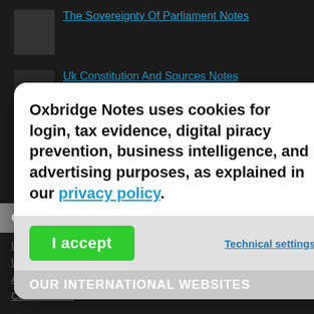The Sovereignty Of Parliament Notes
Uk Constitution And Sources Notes
Oxbridge Notes uses cookies for login, tax evidence, digital piracy prevention, business intelligence, and advertising purposes, as explained in our privacy policy.
I accept
Technical settings
OUR INTERNATIONAL WEBSITES
United Kingdom Notes
United States Notes
Australia Notes
Canada Notes